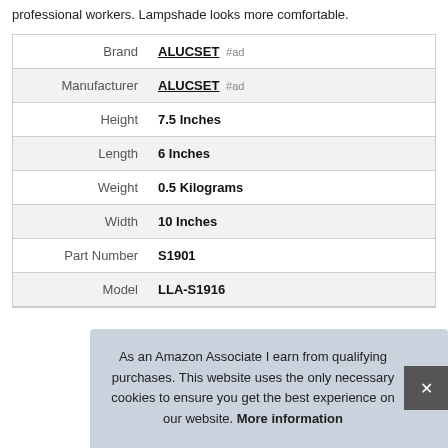professional workers. Lampshade looks more comfortable.
| Attribute | Value |
| --- | --- |
| Brand | ALUCSET #ad |
| Manufacturer | ALUCSET #ad |
| Height | 7.5 Inches |
| Length | 6 Inches |
| Weight | 0.5 Kilograms |
| Width | 10 Inches |
| Part Number | S1901 |
| Model | LLA-S1916 |
As an Amazon Associate I earn from qualifying purchases. This website uses the only necessary cookies to ensure you get the best experience on our website. More information